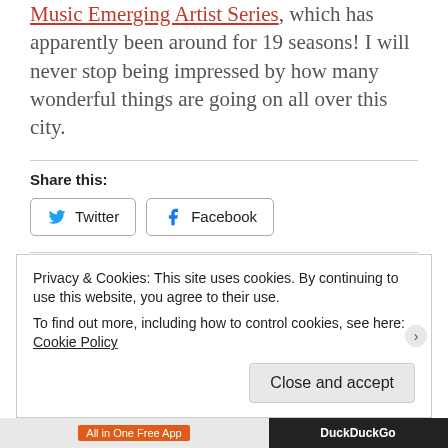Music Emerging Artist Series, which has apparently been around for 19 seasons! I will never stop being impressed by how many wonderful things are going on all over this city.
Share this:
Twitter  Facebook
Like  Be the first to like this.
Privacy & Cookies: This site uses cookies. By continuing to use this website, you agree to their use. To find out more, including how to control cookies, see here: Cookie Policy
Close and accept